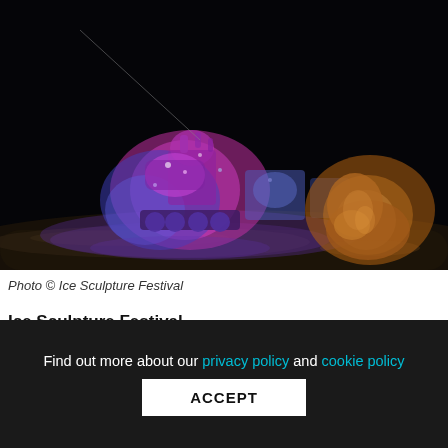[Figure (photo): Night-time photo of illuminated ice sculptures: a train glowing in pink, purple and blue light on the left, and a bison or bear sculpture in warm orange light on the right, set against a dark background with snow on the ground.]
Photo © Ice Sculpture Festival
Ice Sculpture Festival
Find out more about our privacy policy and cookie policy
ACCEPT